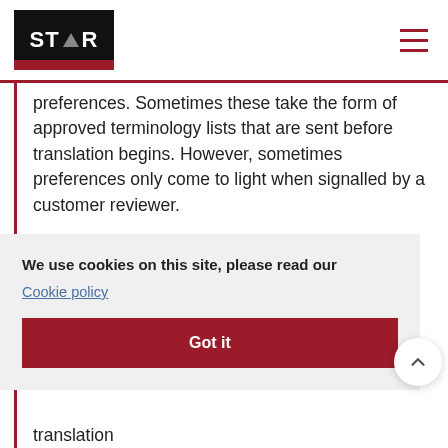STAR logo and navigation
preferences. Sometimes these take the form of approved terminology lists that are sent before translation begins. However, sometimes preferences only come to light when signalled by a customer reviewer.
We use cookies on this site, please read our Cookie policy
Got it
translation